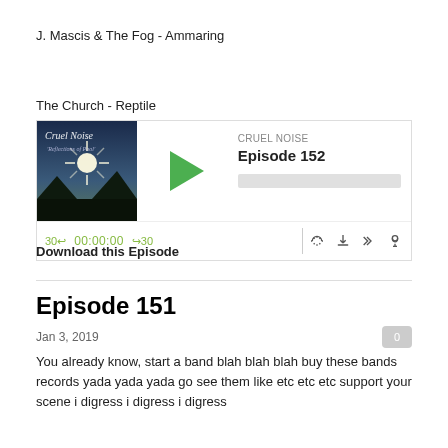J. Mascis & The Fog - Ammaring
The Church - Reptile
[Figure (screenshot): Podcast player widget for 'CRUEL NOISE Episode 152' with album art, play button, progress bar, time controls (30 back, 00:00:00, 30 forward), and icons for RSS, download, embed, and settings.]
Download this Episode
Episode 151
Jan 3, 2019
You already know, start a band blah blah blah buy these bands records yada yada yada go see them like etc etc etc support your scene i digress i digress i digress